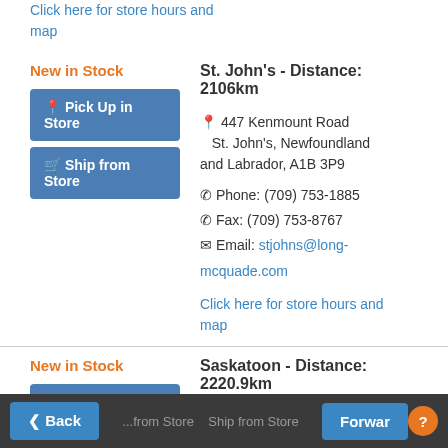Click here for store hours and map
New in Stock
St. John's - Distance: 2106km
Pick Up in Store
Ship from Store
447 Kenmount Road St. John's, Newfoundland and Labrador, A1B 3P9
Phone: (709) 753-1885
Fax: (709) 753-8767
Email: stjohns@long-mcquade.com
Click here for store hours and map
New in Stock
Saskatoon - Distance: 2220.9km
Pick Up in Store
721 43 Street E
Back  Forward